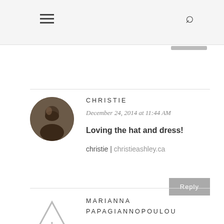≡  🔍
CHRISTIE
December 24, 2014 at 11:44 AM
Loving the hat and dress!
christie | christieashley.ca
Reply
MARIANNA PAPAGIANNOPOULOU
December 25, 2014 at 10:01 PM